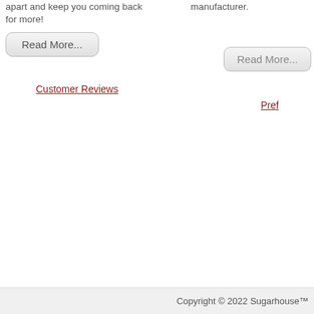apart and keep you coming back for more!
[Figure (other): Read More button (left column)]
Customer Reviews
manufacturer.
[Figure (other): Read More button (right column)]
Pref
Copyright © 2022 Sugarhouse™